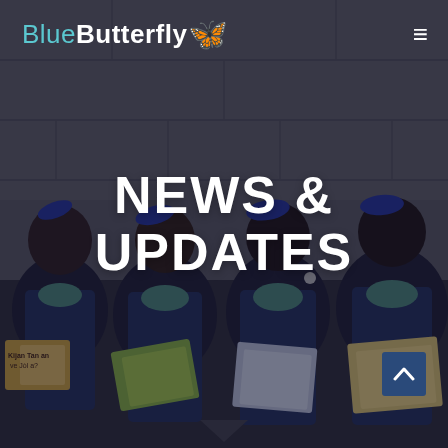BlueButterfly
[Figure (photo): Four young schoolgirls in navy blue uniforms with blue hair ribbons, sitting against a concrete wall and reading books. Hero image for News & Updates page of BlueButterfly website.]
NEWS & UPDATES